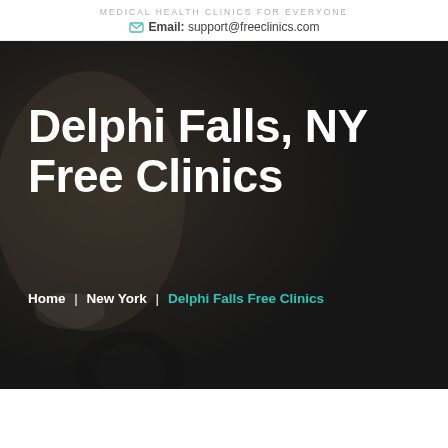MEDICAL HEALTH CLINICS FOR EVERYONE
Email: support@freeclinics.com
[Figure (photo): Dark background hero image showing a smiling medical professional with a stethoscope, overlaid with semi-transparent dark overlay]
Delphi Falls, NY Free Clinics
Home | New York | Delphi Falls Free Clinics